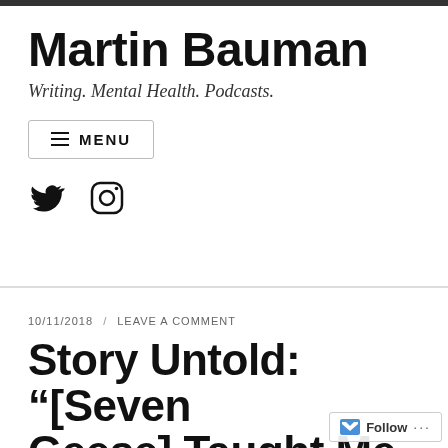Martin Bauman
Writing. Mental Health. Podcasts.
≡ MENU
[Figure (illustration): Twitter bird icon and Instagram camera icon social media links]
10/11/2018 / LEAVE A COMMENT
Story Untold: “[Seven Geese] Taught Me What